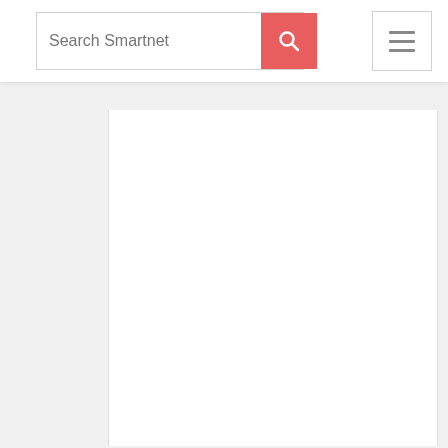Search Smartnet
[Figure (screenshot): White content area below header with a border on left and right sides, mostly empty white space]